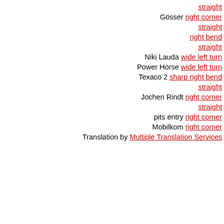straight
Gösser right corner
straight
right bend
straight
Niki Lauda wide left turn
Power Horse wide left turn
Texaco 2 sharp right bend
straight
Jochen Rindt right corner
straight
pits entry right corner
Mobilkom right corner
Translation by Multiple Translation Services